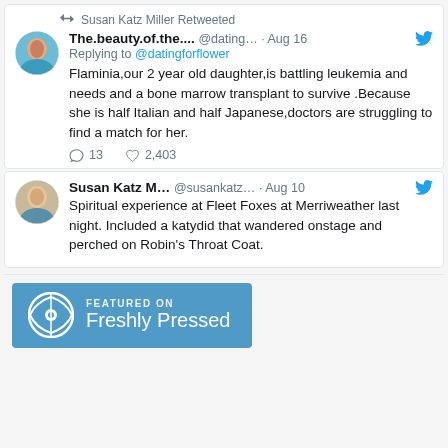Susan Katz Miller Retweeted
The.beauty.of.the.... @dating... · Aug 16
Replying to @datingforflower
Flaminia,our 2 year old daughter,is battling leukemia and needs and a bone marrow transplant to survive .Because she is half Italian and half Japanese,doctors are struggling to find a match for her.
13  2,403
Susan Katz M... @susankatz... · Aug 10
Spiritual experience at Fleet Foxes at Merriweather last night. Included a katydid that wandered onstage and perched on Robin's Throat Coat.
[Figure (logo): Featured on Freshly Pressed WordPress badge - blue background with WordPress logo and text 'FEATURED ON Freshly Pressed']